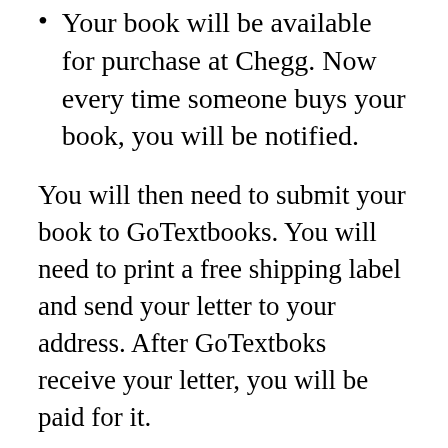Your book will be available for purchase at Chegg. Now every time someone buys your book, you will be notified.
You will then need to submit your book to GoTextbooks. You will need to print a free shipping label and send your letter to your address. After GoTextboks receive your letter, you will be paid for it.
Rules for Selling Books to Chegg
If you want to sell Chegg books, you must follow certain rules set by the company.